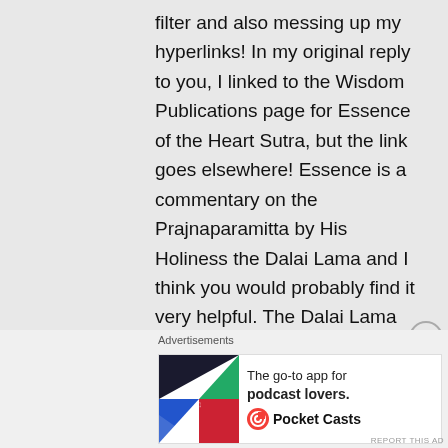filter and also messing up my hyperlinks! In my original reply to you, I linked to the Wisdom Publications page for Essence of the Heart Sutra, but the link goes elsewhere! Essence is a commentary on the Prajnaparamitta by His Holiness the Dalai Lama and I think you would probably find it very helpful. The Dalai Lama gives a nice summary of the history of Madhyamaka, from Nagarjuna to present, talking about the different
Advertisements
[Figure (infographic): Advertisement banner for Pocket Casts app — 'The go-to app for podcast lovers.' with logo showing colored triangular quadrants and Pocket Casts brand logo.]